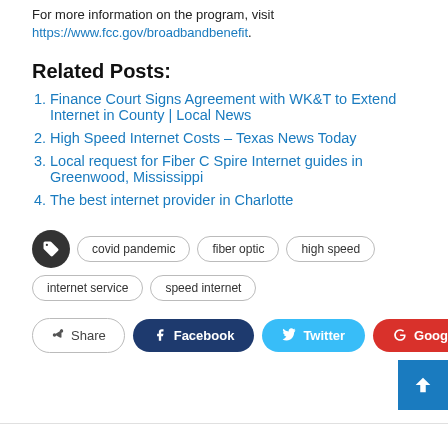For more information on the program, visit https://www.fcc.gov/broadbandbenefit.
Related Posts:
Finance Court Signs Agreement with WK&T to Extend Internet in County | Local News
High Speed Internet Costs – Texas News Today
Local request for Fiber C Spire Internet guides in Greenwood, Mississippi
The best internet provider in Charlotte
covid pandemic  fiber optic  high speed  internet service  speed internet
Share  Facebook  Twitter  Google+